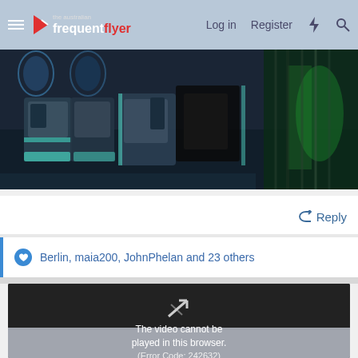the australian frequent flyer — Log in  Register
[Figure (photo): Airline business class cabin interior with dark lighting and teal/green ambient illumination, showing rows of pod-style seats]
↩ Reply
Berlin, maia200, JohnPhelan and 23 others
[Figure (screenshot): Embedded video player showing error message: The video cannot be played in this browser. (Error Code: 242632)]